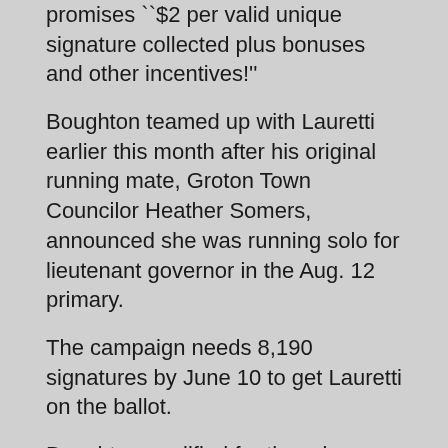promises ``$2 per valid unique signature collected plus bonuses and other incentives!''
Boughton teamed up with Lauretti earlier this month after his original running mate, Groton Town Councilor Heather Somers, announced she was running solo for lieutenant governor in the Aug. 12 primary.
The campaign needs 8,190 signatures by June 10 to get Lauretti on the ballot.
Boughton qualified for the primary by getting more than 15 percent of the vote at this month's party convention.
Newtown lawmakers hold town